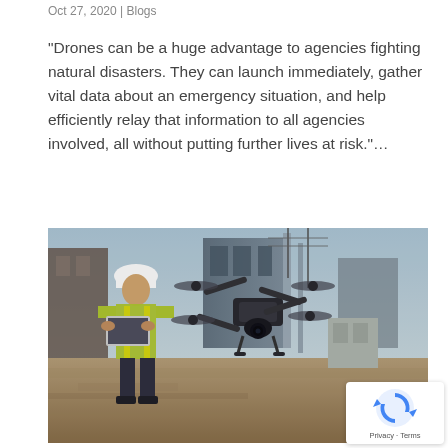Oct 27, 2020 | Blogs
“Drones can be a huge advantage to agencies fighting natural disasters. They can launch immediately, gather vital data about an emergency situation, and help efficiently relay that information to all agencies involved, all without putting further lives at risk.”…
[Figure (photo): A construction worker in a hi-vis vest and white hard hat holding a laptop, with a large professional drone (quadcopter with camera gimbal) hovering in the foreground at a construction site.]